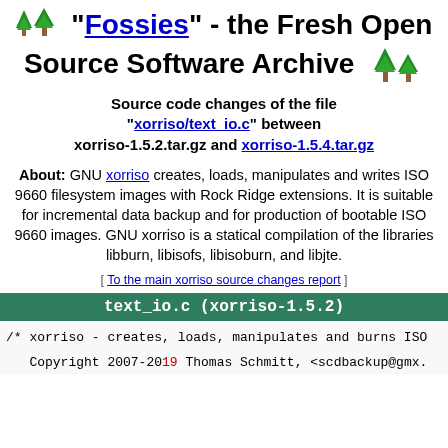"Fossies" - the Fresh Open Source Software Archive
Source code changes of the file "xorriso/text_io.c" between xorriso-1.5.2.tar.gz and xorriso-1.5.4.tar.gz
About: GNU xorriso creates, loads, manipulates and writes ISO 9660 filesystem images with Rock Ridge extensions. It is suitable for incremental data backup and for production of bootable ISO 9660 images. GNU xorriso is a statical compilation of the libraries libburn, libisofs, libisoburn, and libjte.
[ To the main xorriso source changes report ]
text_io.c (xorriso-1.5.2)
/* xorriso - creates, loads, manipulates and burns ISO
Copyright 2007-2019 Thomas Schmitt, <scdbackup@gmx.